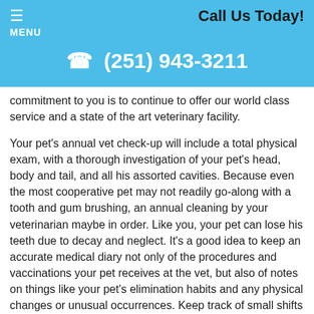MENU   Call Us Today!
(251) 943-3211
commitment to you is to continue to offer our world class service and a state of the art veterinary facility.
Your pet's annual vet check-up will include a total physical exam, with a thorough investigation of your pet's head, body and tail, and all his assorted cavities. Because even the most cooperative pet may not readily go-along with a tooth and gum brushing, an annual cleaning by your veterinarian maybe in order. Like you, your pet can lose his teeth due to decay and neglect. It's a good idea to keep an accurate medical diary not only of the procedures and vaccinations your pet receives at the vet, but also of notes on things like your pet's elimination habits and any physical changes or unusual occurrences. Keep track of small shifts in your pet's behavior, including urinary marking habits and mood swings, along with diet and routine modifications. Take this notebook when you visit the vet.